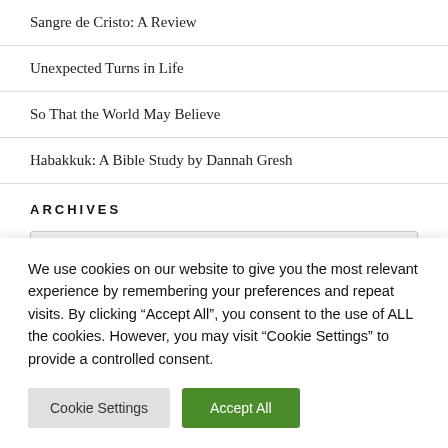Sangre de Cristo: A Review
Unexpected Turns in Life
So That the World May Believe
Habakkuk: A Bible Study by Dannah Gresh
ARCHIVES
We use cookies on our website to give you the most relevant experience by remembering your preferences and repeat visits. By clicking “Accept All”, you consent to the use of ALL the cookies. However, you may visit “Cookie Settings” to provide a controlled consent.